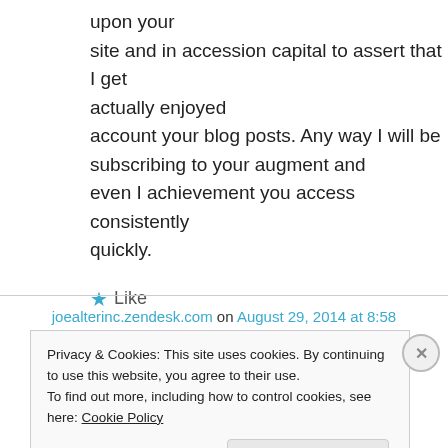upon your site and in accession capital to assert that I get actually enjoyed account your blog posts. Any way I will be subscribing to your augment and even I achievement you access consistently quickly.
★ Like
joealterinc.zendesk.com on August 29, 2014 at 8:58
Privacy & Cookies: This site uses cookies. By continuing to use this website, you agree to their use.
To find out more, including how to control cookies, see here: Cookie Policy
Close and accept